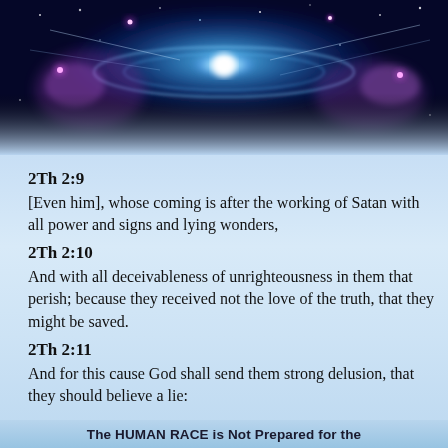[Figure (illustration): Cosmic/space scene with blue glowing galaxy, stars, and purple nebula effects on dark background]
2Th 2:9
[Even him], whose coming is after the working of Satan with all power and signs and lying wonders,
2Th 2:10
And with all deceivableness of unrighteousness in them that perish; because they received not the love of the truth, that they might be saved.
2Th 2:11
And for this cause God shall send them strong delusion, that they should believe a lie:
The HUMAN RACE is Not Prepared for the